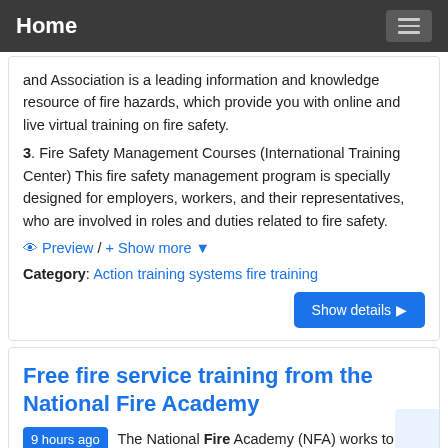Home
and Association is a leading information and knowledge resource of fire hazards, which provide you with online and live virtual training on fire safety.
3. Fire Safety Management Courses (International Training Center) This fire safety management program is specially designed for employers, workers, and their representatives, who are involved in roles and duties related to fire safety.
👁 Preview / + Show more ▾
Category: Action training systems fire training
Show details ▶
Free fire service training from the National Fire Academy
9 hours ago  The National Fire Academy (NFA) works to